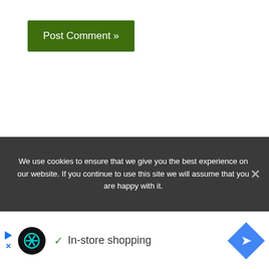[Figure (screenshot): Green 'Post Comment »' button on white background]
We use cookies to ensure that we give you the best experience on our website. If you continue to use this site we will assume that you are happy with it.
[Figure (screenshot): Advertisement banner with Infinity Loop logo, checkmark, 'In-store shopping' text and blue navigation icon]